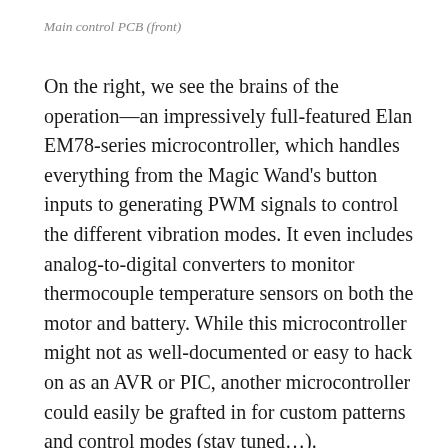Main control PCB (front)
On the right, we see the brains of the operation—an impressively full-featured Elan EM78-series microcontroller, which handles everything from the Magic Wand’s button inputs to generating PWM signals to control the different vibration modes. It even includes analog-to-digital converters to monitor thermocouple temperature sensors on both the motor and battery. While this microcontroller might not as well-documented or easy to hack on as an AVR or PIC, another microcontroller could easily be grafted in for custom patterns and control modes (stay tuned…).